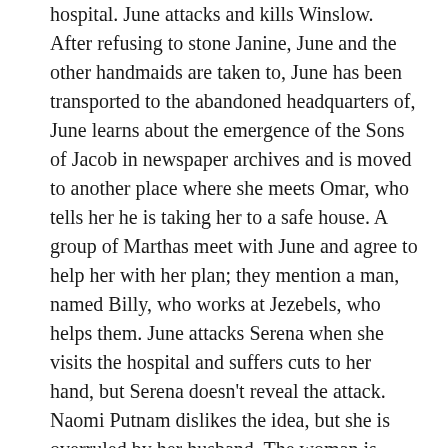hospital. June attacks and kills Winslow. After refusing to stone Janine, June and the other handmaids are taken to, June has been transported to the abandoned headquarters of, June learns about the emergence of the Sons of Jacob in newspaper archives and is moved to another place where she meets Omar, who tells her he is taking her to a safe house. A group of Marthas meet with June and agree to help her with her plan; they mention a man, named Billy, who works at Jezebels, who helps them. June attacks Serena when she visits the hospital and suffers cuts to her hand, but Serena doesn't reveal the attack. Naomi Putnam dislikes the idea, but she is overruled by her husband. The woman is caught, and separated from her young daughter and husband as shots are fired in the distance. The Handmades. After being punished at the Red Center, June is reassigned to Commander Lawrence. We are the owner of THE HANDMADES online Brand. Pro-choice supporters at a Rosa rally in Londonderry, Northern Ireland. Because itâ s a visual symbol, women can use it without fear of being arrested for causing a disturbance, as they would be for shouting in places like legislatures. Flashbacks throughout the episode show her